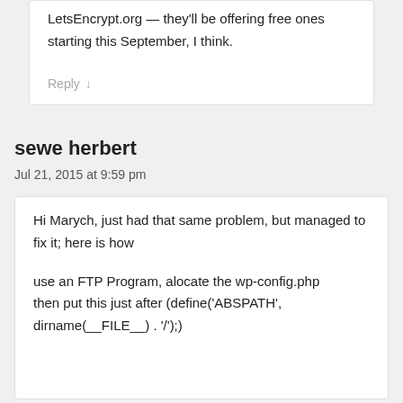LetsEncrypt.org — they'll be offering free ones starting this September, I think.
Reply ↓
sewe herbert
Jul 21, 2015 at 9:59 pm
Hi Marych, just had that same problem, but managed to fix it; here is how

use an FTP Program, alocate the wp-config.php
then put this just after (define('ABSPATH', dirname(__FILE__) . '/');)